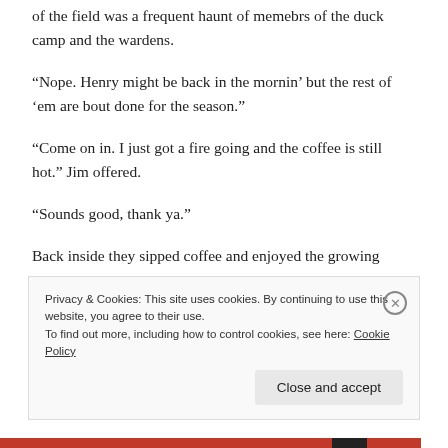of the field was a frequent haunt of memebrs of the duck camp and the wardens.
“Nope. Henry might be back in the mornin’ but the rest of ‘em are bout done for the season.”
“Come on in. I just got a fire going and the coffee is still hot.” Jim offered.
“Sounds good, thank ya.”
Back inside they sipped coffee and enjoyed the growing
Privacy & Cookies: This site uses cookies. By continuing to use this website, you agree to their use.
To find out more, including how to control cookies, see here: Cookie Policy
Close and accept